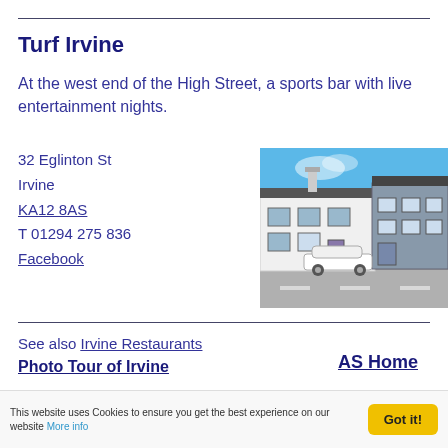Turf Irvine
At the west end of the High Street, a sports bar with live entertainment nights.
32 Eglinton St
Irvine
KA12 8AS
T 01294 275 836
Facebook
[Figure (photo): Exterior photo of Turf Irvine pub building at 32 Eglinton St, Irvine. White rendered building with dark roof, chimneys, windows, a white car parked outside, under a clear blue sky.]
See also Irvine Restaurants
Photo Tour of Irvine
AS Home
This website uses Cookies to ensure you get the best experience on our website More info